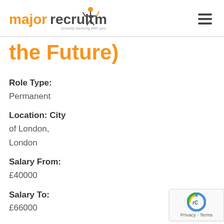[Figure (logo): Major Recruitment logo with orange and grey figure and text 'major recruitment proudly working with you']
the Future)
Role Type:
Permanent
Location: City of London, London
Salary From:
£40000
Salary To:
£66000
Contact